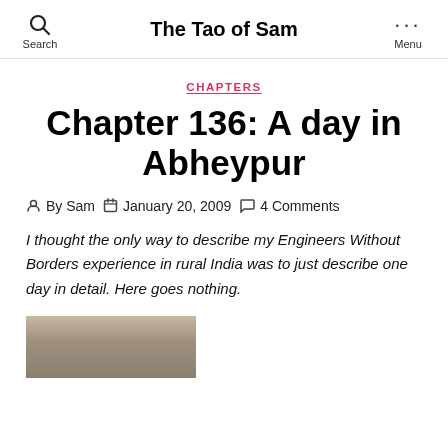The Tao of Sam | Search | Menu
CHAPTERS
Chapter 136: A day in Abheypur
By Sam  January 20, 2009  4 Comments
I thought the only way to describe my Engineers Without Borders experience in rural India was to just describe one day in detail. Here goes nothing.
[Figure (photo): Partial photograph visible at the bottom of the page, appears to show a stone or masonry structure in India]